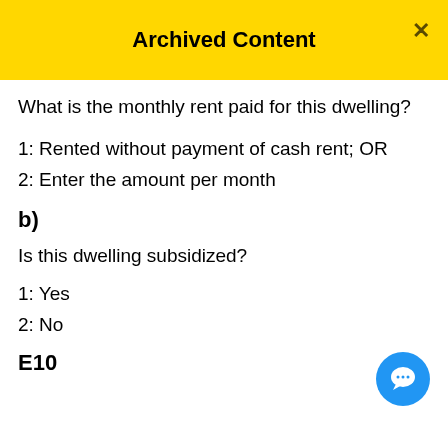Archived Content
What is the monthly rent paid for this dwelling?
1: Rented without payment of cash rent; OR
2: Enter the amount per month
b)
Is this dwelling subsidized?
1: Yes
2: No
E10